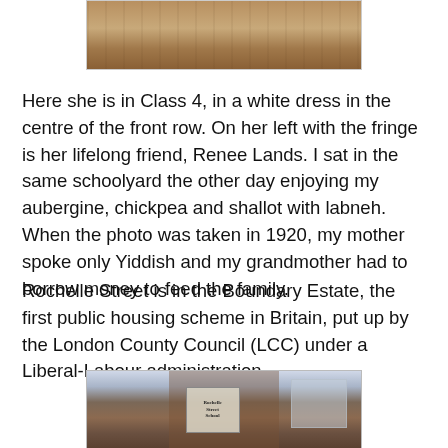[Figure (photo): Old sepia photograph showing a group class photo, including a girl in a white dress in the centre of the front row]
Here she is in Class 4, in a white dress in the centre of the front row. On her left with the fringe is her lifelong friend, Renee Lands. I sat in the same schoolyard the other day enjoying my aubergine, chickpea and shallot with labneh. When the photo was taken in 1920, my mother spoke only Yiddish and my grandmother had to borrow money to feed the family.
Rochelle Street is in the Boundary Estate, the first public housing scheme in Britain, put up by the London County Council (LCC) under a Liberal-Labour administration.
[Figure (photo): Photograph of a red brick school building on Rochelle Street, with a sign visible reading Rochelle Street School]